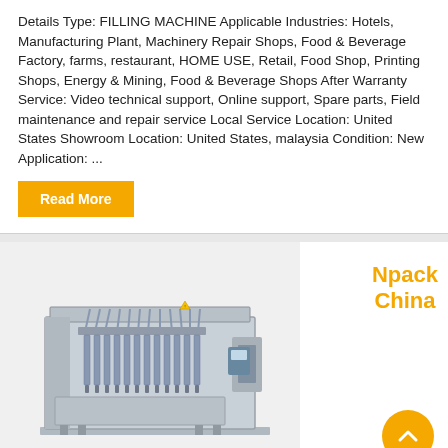Details Type: FILLING MACHINE Applicable Industries: Hotels, Manufacturing Plant, Machinery Repair Shops, Food & Beverage Factory, farms, restaurant, HOME USE, Retail, Food Shop, Printing Shops, Energy & Mining, Food & Beverage Shops After Warranty Service: Video technical support, Online support, Spare parts, Field maintenance and repair service Local Service Location: United States Showroom Location: United States, malaysia Condition: New Application: ...
Read More
[Figure (photo): Industrial filling machine - a large stainless steel automated filling machine with multiple filling nozzles and tubes, shown in a product listing card.]
Npack China